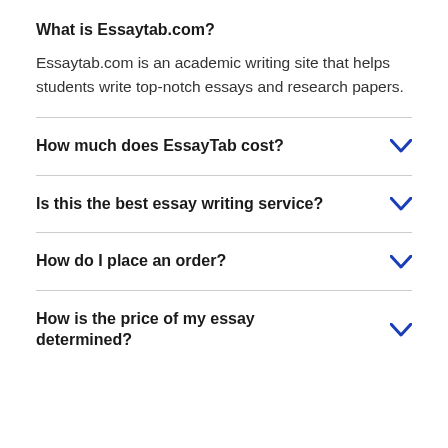What is Essaytab.com?
Essaytab.com is an academic writing site that helps students write top-notch essays and research papers.
How much does EssayTab cost?
Is this the best essay writing service?
How do I place an order?
How is the price of my essay determined?